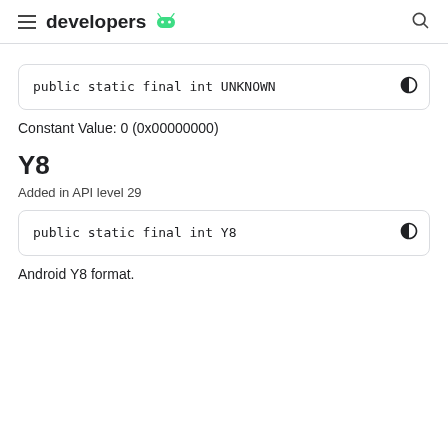developers
public static final int UNKNOWN
Constant Value: 0 (0x00000000)
Y8
Added in API level 29
public static final int Y8
Android Y8 format.